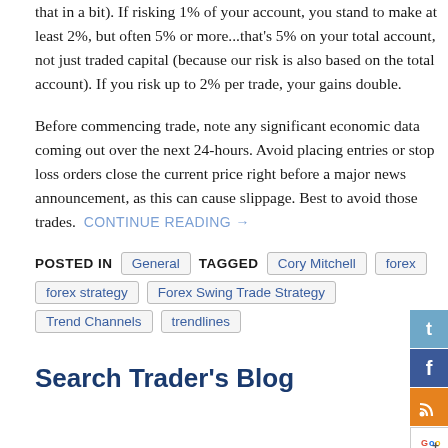that in a bit). If risking 1% of your account, you stand to make at least 2%, but often 5% or more...that's 5% on your total account, not just traded capital (because our risk is also based on the total account). If you risk up to 2% per trade, your gains double.
Before commencing trade, note any significant economic data coming out over the next 24-hours. Avoid placing entries or stop loss orders close the current price right before a major news announcement, as this can cause slippage. Best to avoid those trades.  CONTINUE READING →
POSTED IN  General  TAGGED  Cory Mitchell  forex  forex strategy  Forex Swing Trade Strategy  Trend Channels  trendlines
Search Trader's Blog